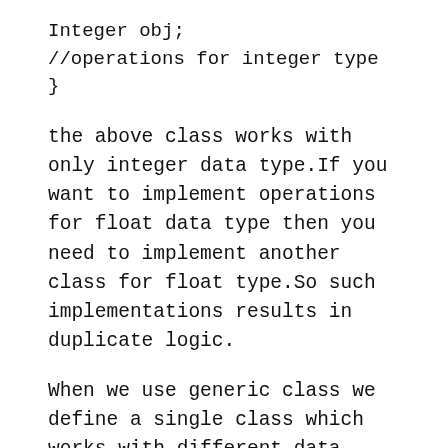Integer obj;
//operations for integer type
}
the above class works with only integer data type.If you want to implement operations for float data type then you need to implement another class for float type.So such implementations results in duplicate logic.
When we use generic class we define a single class which works with different data types.
public class SampleClass<T>{